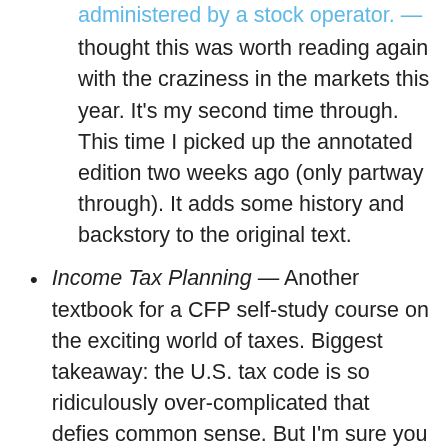thought this was worth reading again with the craziness in the markets this year. It's my second time through. This time I picked up the annotated edition two weeks ago (only partway through). It adds some history and backstory to the original text.
Income Tax Planning — Another textbook for a CFP self-study course on the exciting world of taxes. Biggest takeaway: the U.S. tax code is so ridiculously over-complicated that defies common sense. But I'm sure you already knew that.
A few book lists for other reading ideas: